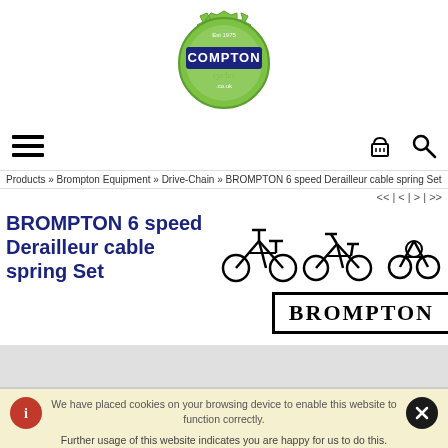[Figure (logo): Compton Cycles logo - green gear/badge shape with blue banner saying COMPTON and script 'cycles' text, est 1975]
[Figure (infographic): Navigation bar with hamburger menu icon on left, shopping basket icon and search magnifier icon on right]
Products » Brompton Equipment » Drive-Chain » BROMPTON 6 speed Derailleur cable spring Set
<< | < | > | >>
BROMPTON 6 speed Derailleur cable spring Set
[Figure (illustration): Three Brompton folding bicycle silhouettes in different folded positions, and a BROMPTON brand badge with thick black border]
[Figure (infographic): Cookie consent banner with red info icon, close X button, cookie notice text and link to cookie information]
We have placed cookies on your browsing device to enable this website to function correctly.
Further usage of this website indicates you are happy for us to do this.
Find out about the cookies we have set and how we use them.